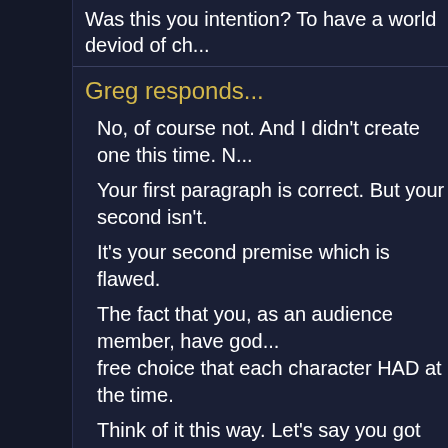Was this you intention? To have a world deviod of ch...
Greg responds...
No, of course not. And I didn't create one this time. N...
Your first paragraph is correct. But your second isn't.
It's your second premise which is flawed.
The fact that you, as an audience member, have god... free choice that each character HAD at the time.
Think of it this way. Let's say you got out a camcorde... streetcorner. You see a guy turn right.
Now you show me the footage. I could, by your logic... turn right. There's the evidence on the screen right in...
But of course that's specious logic. The fact that the ... without a working time machine) and change the fact... that he didn't have free will at the time he made his t... footage doesn't mean that he didn't have free will at t...
Our knowledge (whether foreknowledge, in the mom...